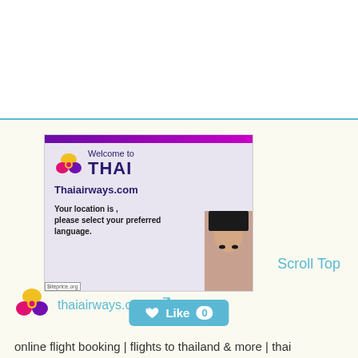[Figure (screenshot): Screenshot of Thai Airways website welcome page showing THAI logo, 'Welcome to Thaiairways.com', and text 'Your location is , please select your preferred language.' with a photo of a woman's face on the right side. A siteprice.org watermark appears at the bottom left.]
Scroll Top
[Figure (other): Like button showing a heart icon, the word 'Like', and a count badge showing 0]
[Figure (logo): Thai Airways logo (flower/lotus symbol in gold, pink and purple)]
thaiairways.com
online flight booking | flights to thailand & more | thai